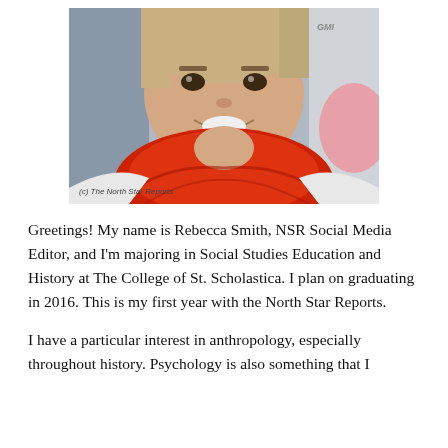[Figure (photo): Selfie photo of a young woman with blonde hair, smiling, wearing a bright red scarf/cowl, with a small watermark reading '(c) The North Star Reports' in the bottom left corner.]
Greetings! My name is Rebecca Smith, NSR Social Media Editor, and I'm majoring in Social Studies Education and History at The College of St. Scholastica. I plan on graduating in 2016. This is my first year with the North Star Reports.
I have a particular interest in anthropology, especially throughout history. Psychology is also something that I have a deep passion for, among many others.